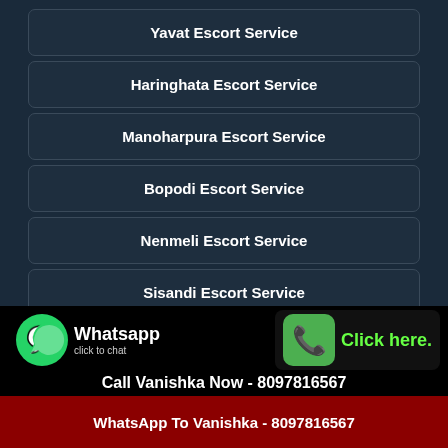Yavat Escort Service
Haringhata Escort Service
Manoharpura Escort Service
Bopodi Escort Service
Nenmeli Escort Service
Sisandi Escort Service
Washermanpet Escort Service
[Figure (infographic): WhatsApp click to chat button with green WhatsApp logo icon on left, and Call button with green phone icon on right, showing 'Click here.' text]
Call Vanishka Now - 8097816567
WhatsApp To Vanishka - 8097816567